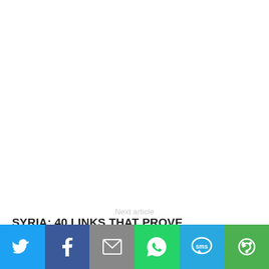Next article
SYRIA: 40 LINKS THAT PROVE
[Figure (infographic): Social media share bar with icons for Twitter, Facebook, Email, WhatsApp, SMS, and a reload/share button]